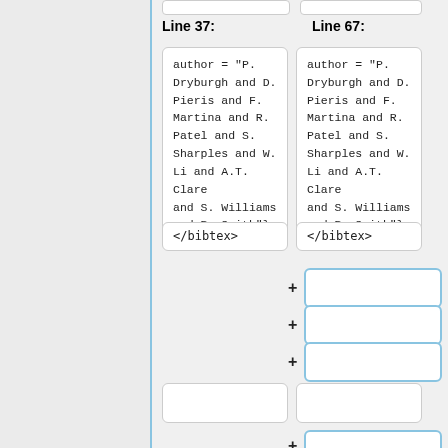Line 37:
Line 67:
author = "P. Dryburgh and D. Pieris and F. Martina and R. Patel and S. Sharples and W. Li and A.T. Clare and S. Williams and R. Smith"}
author = "P. Dryburgh and D. Pieris and F. Martina and R. Patel and S. Sharples and W. Li and A.T. Clare and S. Williams and R. Smith"}
</bibtex>
</bibtex>